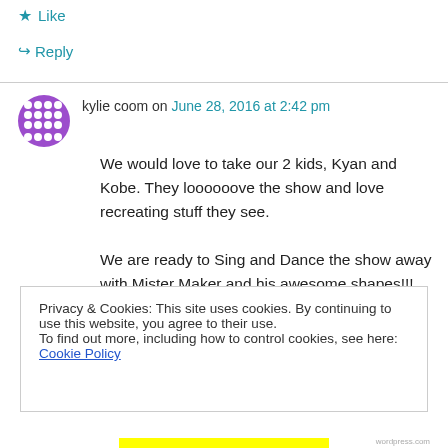★ Like
↪ Reply
kylie coom on June 28, 2016 at 2:42 pm
We would love to take our 2 kids, Kyan and Kobe. They loooooove the show and love recreating stuff they see.
We are ready to Sing and Dance the show away with Mister Maker and his awesome shapes!!!
ADELAIDE PLEASE!!! 😀
Privacy & Cookies: This site uses cookies. By continuing to use this website, you agree to their use.
To find out more, including how to control cookies, see here: Cookie Policy
Close and accept